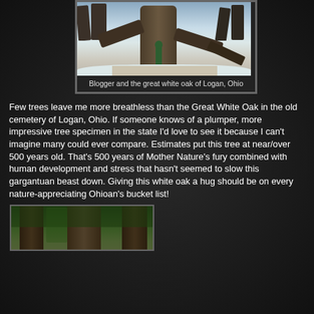[Figure (photo): Person standing next to a massive great white oak tree in winter/snow conditions in Logan, Ohio]
Blogger and the great white oak of Logan, Ohio
Few trees leave me more breathless than the Great White Oak in the old cemetery of Logan, Ohio.  If someone knows of a plumper, more impressive tree specimen in the state I'd love to see it because I can't imagine many could ever compare.  Estimates put this tree at near/over 500 years old.  That's 500 years of Mother Nature's fury combined with human development and stress that hasn't seemed to slow this gargantuan beast down. Giving this white oak a hug should be on every nature-appreciating Ohioan's bucket list!
[Figure (photo): Close-up view of large tree trunks in a green forest setting]